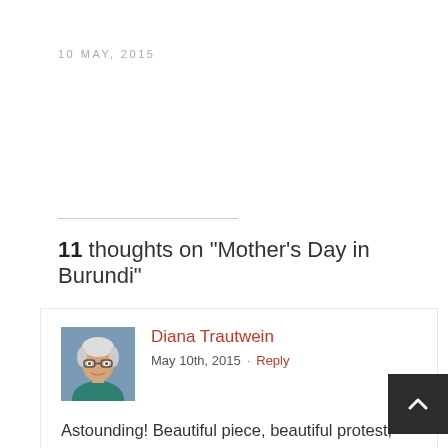10 MAY, 2015
11 thoughts on "Mother's Day in Burundi"
Diana Trautwein
May 10th, 2015 · Reply

Astounding! Beautiful piece, beautiful protest, beautiful women. And you are a Burundian mother. Yes, you are.